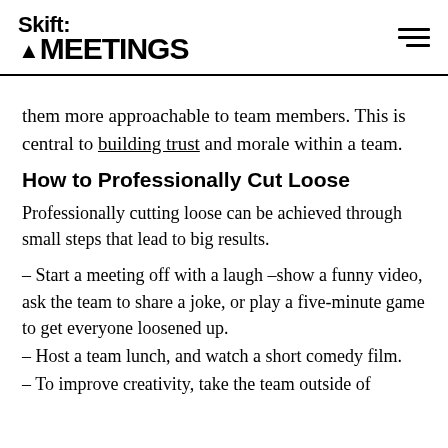Skift MEETINGS
them more approachable to team members. This is central to building trust and morale within a team.
How to Professionally Cut Loose
Professionally cutting loose can be achieved through small steps that lead to big results.
– Start a meeting off with a laugh –show a funny video, ask the team to share a joke, or play a five-minute game to get everyone loosened up.
– Host a team lunch, and watch a short comedy film.
– To improve creativity, take the team outside of